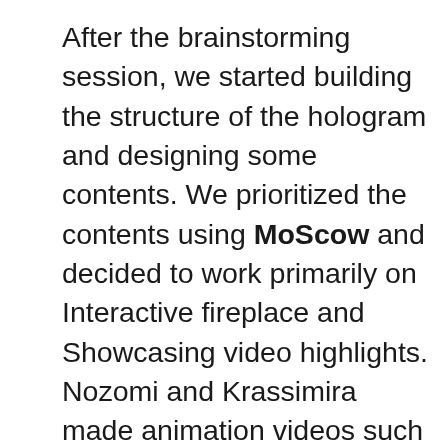After the brainstorming session, we started building the structure of the hologram and designing some contents. We prioritized the contents using MoScow and decided to work primarily on Interactive fireplace and Showcasing video highlights. Nozomi and Krassimira made animation videos such as fire and content of showcase. Dikshant and Seiya figured out how to make interactive functions like changing the colour of fire based on the sensor using Processing and Arduino. (If you want to know how to connect Processing and Arduino, you can learn in detail here